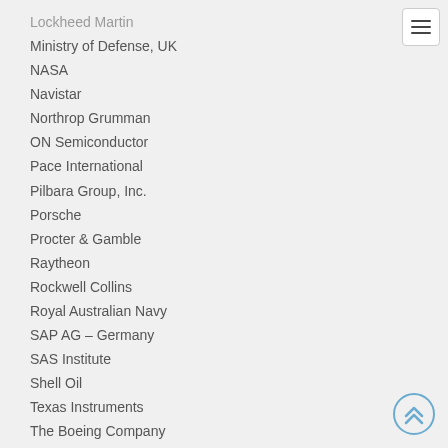Lockheed Martin
Ministry of Defense, UK
NASA
Navistar
Northrop Grumman
ON Semiconductor
Pace International
Pilbara Group, Inc.
Porsche
Procter & Gamble
Raytheon
Rockwell Collins
Royal Australian Navy
SAP AG – Germany
SAS Institute
Shell Oil
Texas Instruments
The Boeing Company
Transportation Security Agency
US Air Force
US Army